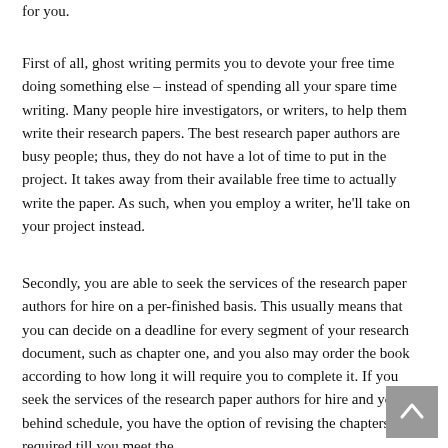for you.
First of all, ghost writing permits you to devote your free time doing something else – instead of spending all your spare time writing. Many people hire investigators, or writers, to help them write their research papers. The best research paper authors are busy people; thus, they do not have a lot of time to put in the project. It takes away from their available free time to actually write the paper. As such, when you employ a writer, he'll take on your project instead.
Secondly, you are able to seek the services of the research paper authors for hire on a per-finished basis. This usually means that you can decide on a deadline for every segment of your research document, such as chapter one, and you also may order the book according to how long it will require you to complete it. If you seek the services of the research paper authors for hire and you're behind schedule, you have the option of revising the chapters as required till you meet the